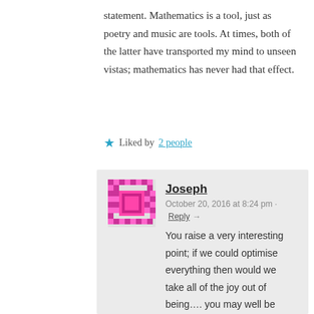statement. Mathematics is a tool, just as poetry and music are tools. At times, both of the latter have transported my mind to unseen vistas; mathematics has never had that effect.
★ Liked by 2 people
Joseph · October 20, 2016 at 8:24 pm · Reply →
You raise a very interesting point; if we could optimise everything then would we take all of the joy out of being…. you may well be right. I know I get a lot of my satisfaction from the quest to know more. Although I disagree that Godel's theorems disprove my original statement in this sense; language is essentially about describing things. That is why you can have different languages but they are easily translatable…. bread/pan/brot etc…. we all know what they mean because they all describe the same thing. In exactly the same way, mathematics describes things that